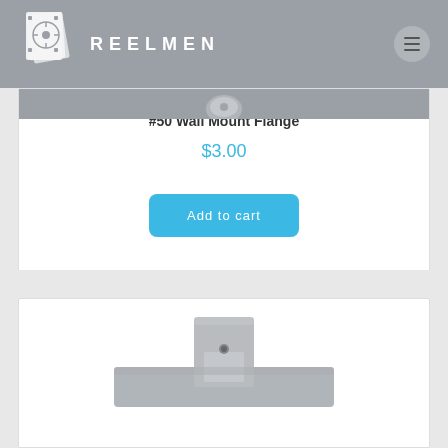REELMEN
#50 Wall Mount Flange
$3.00
Add to cart
[Figure (photo): Product photo of a metal wall mount flange hardware item, silver/gray colored]
[Figure (photo): Bottom portion of a second product listing showing a metal hardware bracket or flange item]